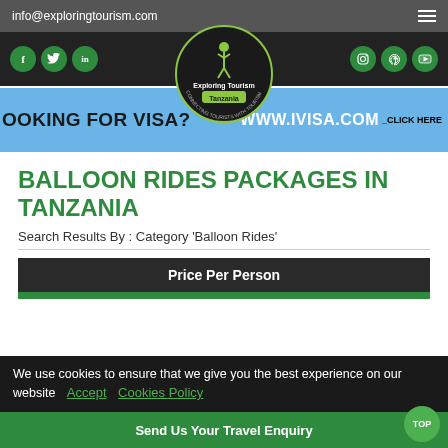info@exploringtourism.com
[Figure (logo): Exploring Tourism Tanzania logo — circular green badge with hiker icon and text 'Exploring Tourism Tanzania / Connecting Tourists with Tourism']
[Figure (infographic): Blue banner with text 'LOOKING FOR VISA?' on left and 'WWW.IVISA.COM _CLICK HERE' on right]
BALLOON RIDES PACKAGES IN TANZANIA
Search Results By : Category 'Balloon Rides'
| Price Per Person |
| --- |
We use cookies to ensure that we give you the best experience on our website  Accept  Cookies Policy
Send Us Your Travel Enquiry